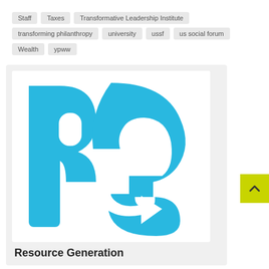Staff
Taxes
Transformative Leadership Institute
transforming philanthropy
university
ussf
us social forum
Wealth
ypww
[Figure (logo): Resource Generation logo — large cyan/sky-blue letters 'rg' where the g features a circular arrow motif, on a white background]
Resource Generation